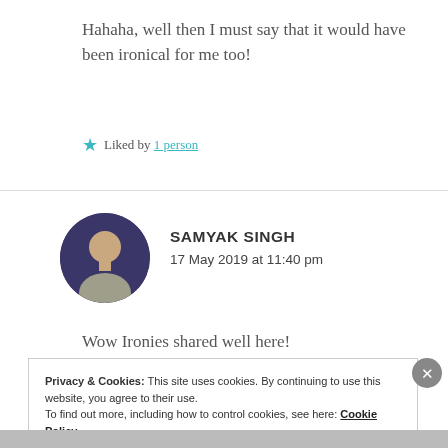Hahaha, well then I must say that it would have been ironical for me too!
★ Liked by 1 person
SAMYAK SINGH
17 May 2019 at 11:40 pm
Wow Ironies shared well here!
Privacy & Cookies: This site uses cookies. By continuing to use this website, you agree to their use.
To find out more, including how to control cookies, see here: Cookie Policy
Close and accept